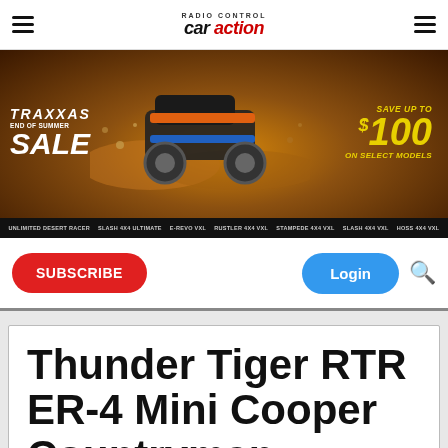Radio Control Car Action
[Figure (photo): Traxxas End of Summer Sale advertisement banner. Shows an RC car (buggy) racing through dirt with text 'TRAXXAS END OF SUMMER SALE' on the left and 'SAVE UP TO $100 ON SELECT MODELS' on the right. Bottom strip lists models: UNLIMITED DESERT RACER, SLASH 4X4 ULTIMATE, E-REVO VXL, RUSTLER 4X4 VXL, STAMPEDE 4X4 VXL, SLASH 4X4 VXL, HOSS 4X4 VXL.]
SUBSCRIBE
Login
Thunder Tiger RTR ER-4 Mini Cooper Countryman